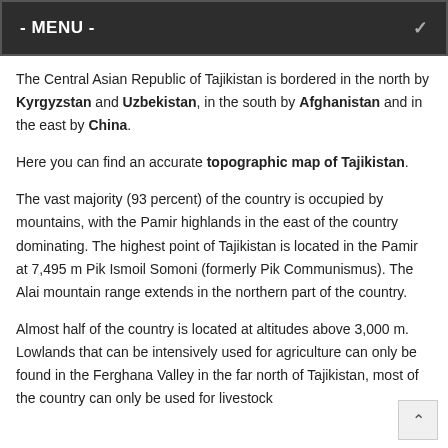- MENU -
The Central Asian Republic of Tajikistan is bordered in the north by Kyrgyzstan and Uzbekistan, in the south by Afghanistan and in the east by China.
Here you can find an accurate topographic map of Tajikistan.
The vast majority (93 percent) of the country is occupied by mountains, with the Pamir highlands in the east of the country dominating. The highest point of Tajikistan is located in the Pamir at 7,495 m Pik Ismoil Somoni (formerly Pik Communismus). The Alai mountain range extends in the northern part of the country.
Almost half of the country is located at altitudes above 3,000 m. Lowlands that can be intensively used for agriculture can only be found in the Ferghana Valley in the far north of Tajikistan, most of the country can only be used for livestock